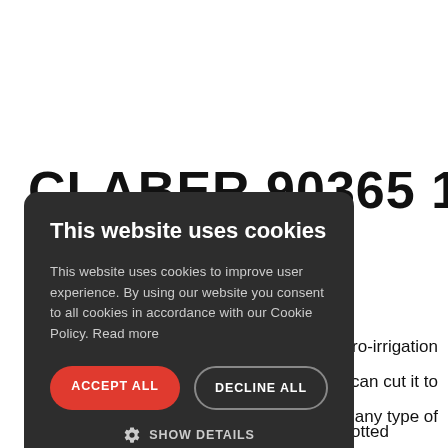CLABER 90365 1/2"
[Figure (screenshot): Cookie consent modal overlay with dark background, title 'This website uses cookies', body text about cookie policy, 'ACCEPT ALL' button in red and 'DECLINE ALL' button with outline, plus 'SHOW DETAILS' option with gear icon.]
...cro-irrigation ...can cut it to ...any type of drip irrigation or micro-irrigation circuit for potted plants,